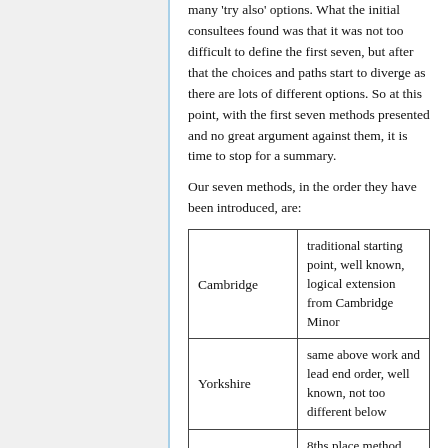many 'try also' options. What the initial consultees found was that it was not too difficult to define the first seven, but after that the choices and paths start to diverge as there are lots of different options. So at this point, with the first seven methods presented and no great argument against them, it is time to stop for a summary.
Our seven methods, in the order they have been introduced, are:
|  |  |
| --- | --- |
| Cambridge | traditional starting point, well known, logical extension from Cambridge Minor |
| Yorkshire | same above work and lead end order, well known, not too different below |
|  | 8ths place method and |